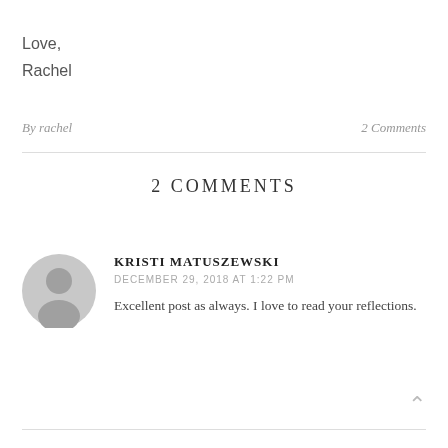Love,
Rachel
By rachel   2 Comments
2 COMMENTS
KRISTI MATUSZEWSKI
DECEMBER 29, 2018 AT 1:22 PM
Excellent post as always. I love to read your reflections.